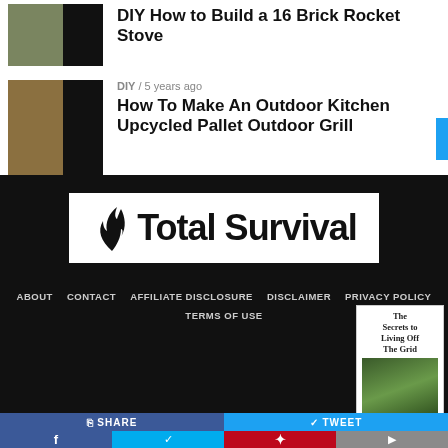DIY How to Build a 16 Brick Rocket Stove
DIY / 5 years ago
How To Make An Outdoor Kitchen Upcycled Pallet Outdoor Grill
[Figure (logo): Total Survival logo with flame icon on white background in black footer]
ABOUT   CONTACT   AFFILIATE DISCLOSURE   DISCLAIMER   PRIVACY POLICY   TERMS OF USE